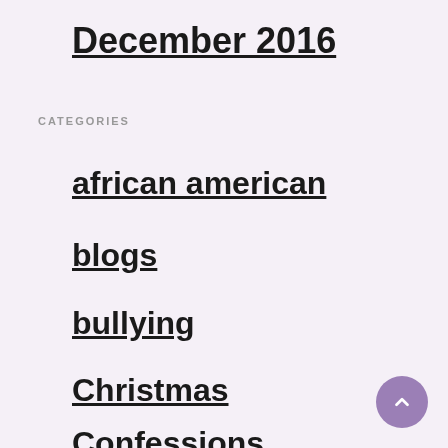December 2016
CATEGORIES
african american
blogs
bullying
Christmas
Confessions